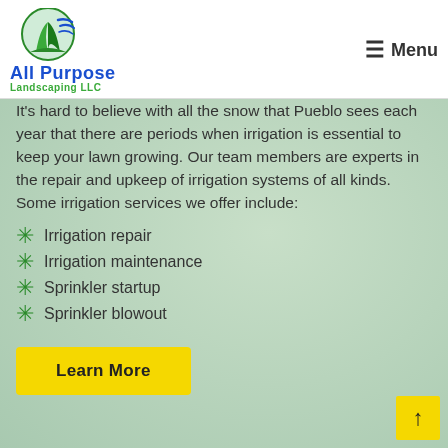All Purpose Landscaping LLC — Menu
It's hard to believe with all the snow that Pueblo sees each year that there are periods when irrigation is essential to keep your lawn growing. Our team members are experts in the repair and upkeep of irrigation systems of all kinds. Some irrigation services we offer include:
Irrigation repair
Irrigation maintenance
Sprinkler startup
Sprinkler blowout
Learn More